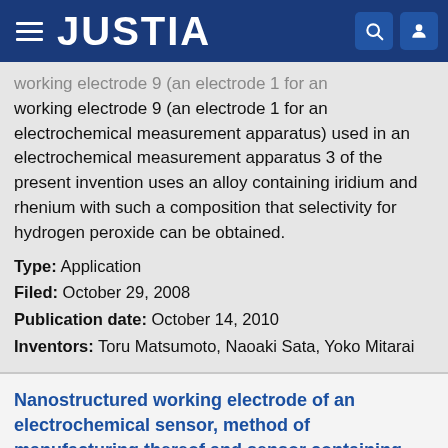JUSTIA
working electrode 9 (an electrode 1 for an electrochemical measurement apparatus) used in an electrochemical measurement apparatus 3 of the present invention uses an alloy containing iridium and rhenium with such a composition that selectivity for hydrogen peroxide can be obtained.
Type: Application
Filed: October 29, 2008
Publication date: October 14, 2010
Inventors: Toru Matsumoto, Naoaki Sata, Yoko Mitarai
Nanostructured working electrode of an electrochemical sensor, method of manufacturing thereof and sensor containing this working electrode
Patent number: 7811431
Abstract: A nanostructured working electrode of an